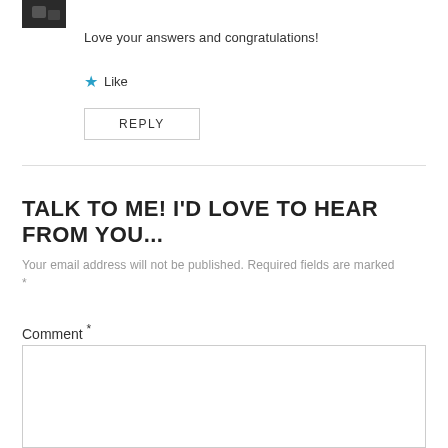[Figure (photo): Small dark avatar/profile image in top left corner]
Love your answers and congratulations!
★ Like
REPLY
TALK TO ME! I'D LOVE TO HEAR FROM YOU...
Your email address will not be published. Required fields are marked *
Comment *